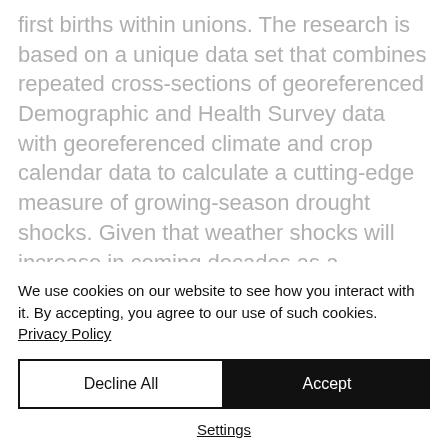first births within unions. The research is based on a unique data set that combines repeated cross-sections of georeferenced Demographic and Health Survey data with georeferenced climate and crop calendar data to calculate a cutting-edge measure of growing-season drought shocks. Given that weather shocks will increase in coming decades as a consequence of climate change, there is a crucial
We use cookies on our website to see how you interact with it. By accepting, you agree to our use of such cookies. Privacy Policy
Decline All
Accept
Settings